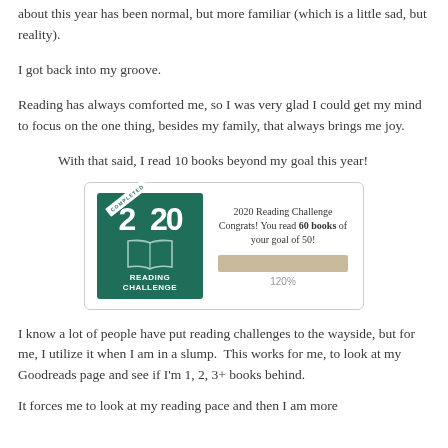about this year has been normal, but more familiar (which is a little sad, but reality).
I got back into my groove.
Reading has always comforted me, so I was very glad I could get my mind to focus on the one thing, besides my family, that always brings me joy.
With that said, I read 10 books beyond my goal this year!
[Figure (screenshot): 2020 Reading Challenge badge showing 'COMPLETED' ribbon, book icon, and text: 'Congrats! You read 60 books of your goal of 50!' with a progress bar at 120%.]
I know a lot of people have put reading challenges to the wayside, but for me, I utilize it when I am in a slump.  This works for me, to look at my Goodreads page and see if I'm 1, 2, 3+ books behind.
It forces me to look at my reading pace and then I am more